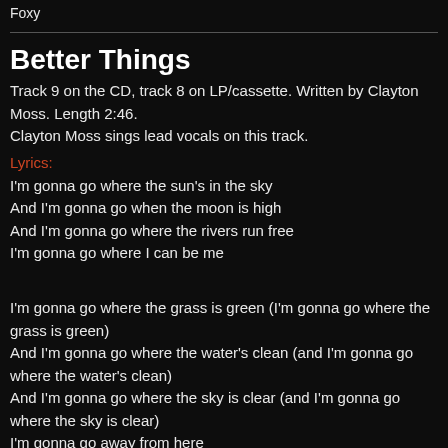Foxy
Better Things
Track 9 on the CD, track 8 on LP/cassette. Written by Clayton Moss. Length 2:46.
Clayton Moss sings lead vocals on this track.
Lyrics:
I'm gonna go where the sun's in the sky
And I'm gonna go when the moon is high
And I'm gonna go where the rivers run free
I'm gonna go where I can be me
I'm gonna go where the grass is green (I'm gonna go where the grass is green)
And I'm gonna go where the water's clean (and I'm gonna go where the water's clean)
And I'm gonna go where the sky is clear (and I'm gonna go where the sky is clear)
I'm gonna go away from here
I'm gonna think about better things
Think about better things
I'm gonna build a fire by the sea (I'm gonna build a fire by the sea)
And I'm gonna be alone with me (and I'm gonna be alone with me)